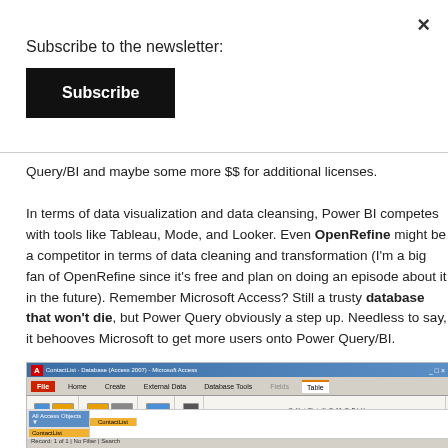×
Subscribe to the newsletter:
Subscribe
Query/BI and maybe some more $$ for additional licenses.

In terms of data visualization and data cleansing, Power BI competes with tools like Tableau, Mode, and Looker. Even OpenRefine might be a competitor in terms of data cleaning and transformation (I'm a big fan of OpenRefine since it's free and plan on doing an episode about it in the future). Remember Microsoft Access? Still a trusty database that won't die, but Power Query obviously a step up. Needless to say, it behooves Microsoft to get more users onto Power Query/BI.
[Figure (screenshot): Screenshot of Microsoft Access database application showing the ribbon toolbar with Home, Create, External Data, Database Tools, Fields, and Table tabs. A table called 'ContactList' is open in the navigation pane on the left.]